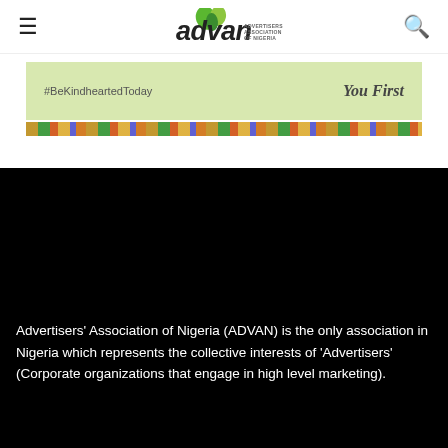advan ADVERTISERS ASSOCIATION OF NIGERIA
[Figure (screenshot): Green banner with #BeKindheartedToday hashtag on left and 'You First' italic tagline on right, with decorative patterned strip at bottom]
Advertisers' Association of Nigeria (ADVAN) is the only association in Nigeria which represents the collective interests of 'Advertisers' (Corporate organizations that engage in high level marketing).